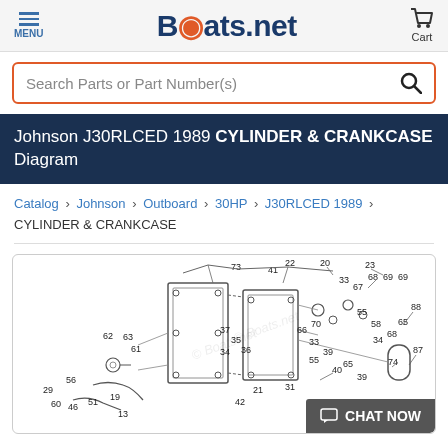MENU | Boats.net | Cart
Search Parts or Part Number(s)
Johnson J30RLCED 1989 CYLINDER & CRANKCASE Diagram
Catalog > Johnson > Outboard > 30HP > J30RLCED 1989 > CYLINDER & CRANKCASE
[Figure (engineering-diagram): Exploded parts diagram for Johnson J30RLCED 1989 Cylinder & Crankcase assembly, showing numbered components (13, 19, 20, 21, 22, 23, 29, 31, 33, 34, 35, 36, 37, 39, 40, 41, 42, 46, 51, 55, 56, 58, 59, 60, 61, 62, 63, 65, 66, 67, 68, 69, 70, 73, 74, 86, 87, 88) with callout lines and part numbers annotating an exploded view of crankcase and cylinder block components. Watermarked with 'Boats.net'.]